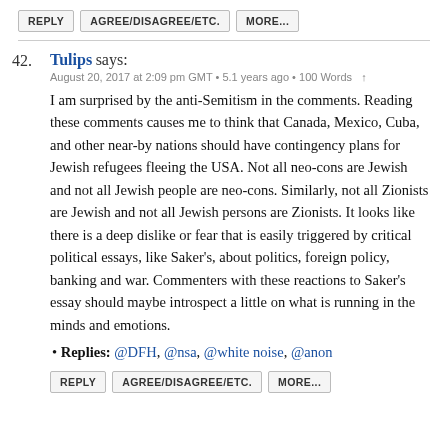REPLY   AGREE/DISAGREE/ETC.   MORE...
42. Tulips says:
August 20, 2017 at 2:09 pm GMT • 5.1 years ago • 100 Words ↑
I am surprised by the anti-Semitism in the comments. Reading these comments causes me to think that Canada, Mexico, Cuba, and other near-by nations should have contingency plans for Jewish refugees fleeing the USA. Not all neo-cons are Jewish and not all Jewish people are neo-cons. Similarly, not all Zionists are Jewish and not all Jewish persons are Zionists. It looks like there is a deep dislike or fear that is easily triggered by critical political essays, like Saker's, about politics, foreign policy, banking and war. Commenters with these reactions to Saker's essay should maybe introspect a little on what is running in the minds and emotions.
• Replies: @DFH, @nsa, @white noise, @anon
REPLY   AGREE/DISAGREE/ETC.   MORE...